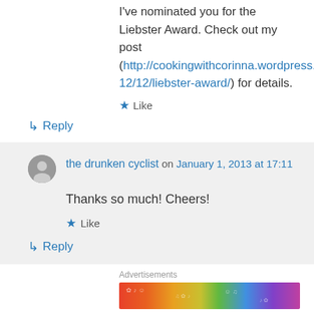I've nominated you for the Liebster Award. Check out my post (http://cookingwithcorinna.wordpress.com/2012/12/12/liebster-award/) for details.
★ Like
↳ Reply
the drunken cyclist on January 1, 2013 at 17:11
Thanks so much! Cheers!
★ Like
↳ Reply
Advertisements